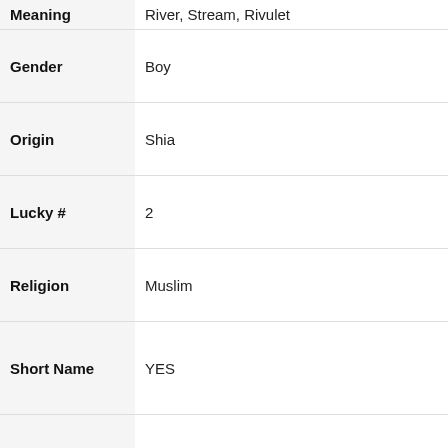| Field | Value |
| --- | --- |
| Meaning | River, Stream, Rivulet |
| Gender | Boy |
| Origin | Shia |
| Lucky # | 2 |
| Religion | Muslim |
| Short Name | YES |
| Name Length | 5 Letters and 1 Word |